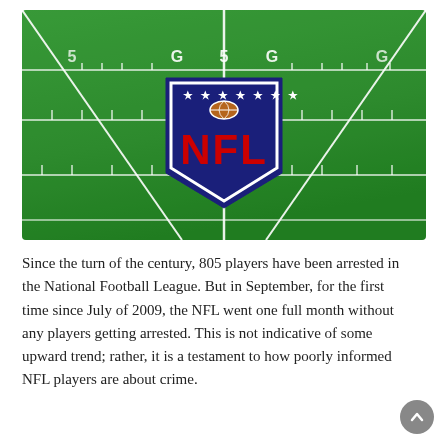[Figure (photo): Aerial view of an NFL football field showing green turf with white yard lines and hash marks. In the center of the field is the official NFL shield logo — a blue shield with red 'NFL' lettering and white stars at the top.]
Since the turn of the century, 805 players have been arrested in the National Football League. But in September, for the first time since July of 2009, the NFL went one full month without any players getting arrested. This is not indicative of some upward trend; rather, it is a testament to how poorly informed NFL players are about crime.